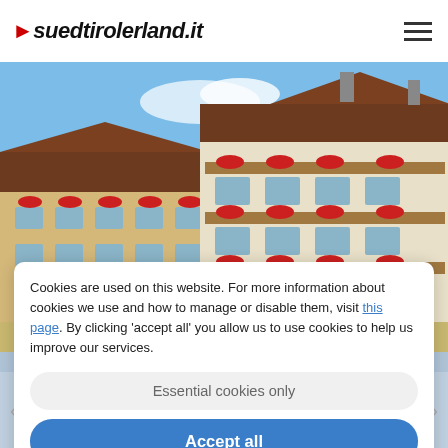suedtirolerland.it
[Figure (photo): Exterior photo of an Alpine hotel building with red geraniums on balconies, brown timber roof, blue sky background]
Cookies are used on this website. For more information about cookies we use and how to manage or disable them, visit this page. By clicking 'accept all' you allow us to use cookies to help us improve our services.
Essential cookies only
Accept all
★ ★ ★ ★ ★
Alpenpalace
Luxurious and yet close to nature...